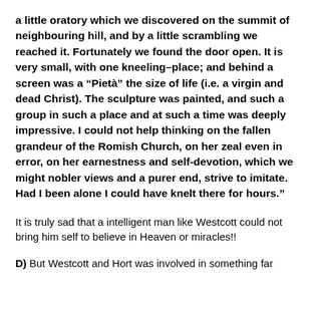a little oratory which we discovered on the summit of neighbouring hill, and by a little scrambling we reached it. Fortunately we found the door open. It is very small, with one kneeling–place; and behind a screen was a “Pietà” the size of life (i.e. a virgin and dead Christ). The sculpture was painted, and such a group in such a place and at such a time was deeply impressive. I could not help thinking on the fallen grandeur of the Romish Church, on her zeal even in error, on her earnestness and self-devotion, which we might nobler views and a purer end, strive to imitate. Had I been alone I could have knelt there for hours.”
It is truly sad that a intelligent man like Westcott could not bring him self to believe in Heaven or miracles!!
D) But Westcott and Hort was involved in something far